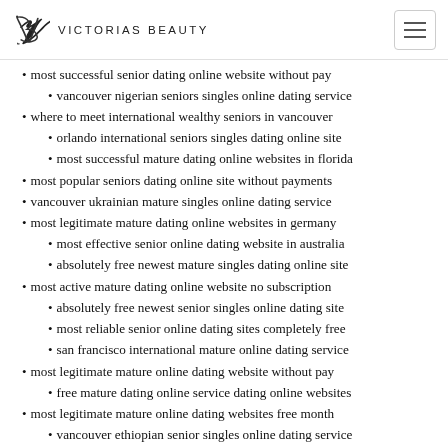Victorias Beauty
most successful senior dating online website without pay
vancouver nigerian seniors singles online dating service
where to meet international wealthy seniors in vancouver
orlando international seniors singles dating online site
most successful mature dating online websites in florida
most popular seniors dating online site without payments
vancouver ukrainian mature singles online dating service
most legitimate mature dating online websites in germany
most effective senior online dating website in australia
absolutely free newest mature singles dating online site
most active mature dating online website no subscription
absolutely free newest senior singles online dating site
most reliable senior online dating sites completely free
san francisco international mature online dating service
most legitimate mature online dating website without pay
free mature dating online service dating online websites
most legitimate mature online dating websites free month
vancouver ethiopian senior singles online dating service
no register newest mature singles dating online websites